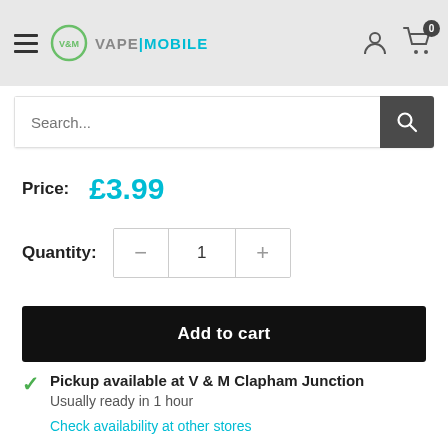VAPE|MOBILE
Search...
Price: £3.99
Quantity: 1
Add to cart
Pickup available at V & M Clapham Junction
Usually ready in 1 hour
Check availability at other stores